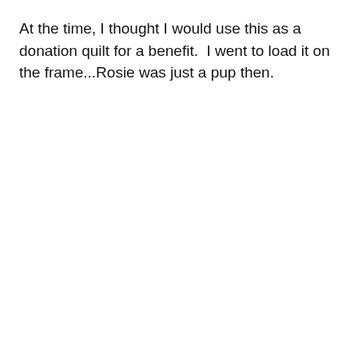At the time, I thought I would use this as a donation quilt for a benefit.  I went to load it on the frame...Rosie was just a pup then.